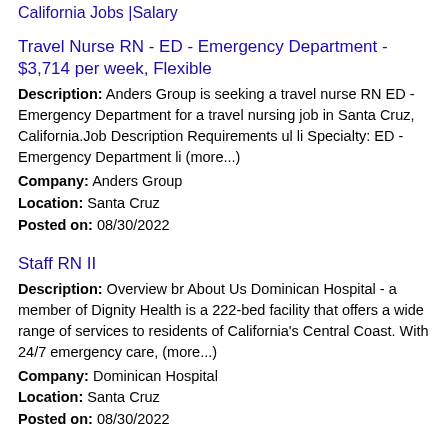California Jobs |Salary
Travel Nurse RN - ED - Emergency Department - $3,714 per week, Flexible
Description: Anders Group is seeking a travel nurse RN ED - Emergency Department for a travel nursing job in Santa Cruz, California.Job Description Requirements ul li Specialty: ED - Emergency Department li (more...)
Company: Anders Group
Location: Santa Cruz
Posted on: 08/30/2022
Staff RN II
Description: Overview br About Us Dominican Hospital - a member of Dignity Health is a 222-bed facility that offers a wide range of services to residents of California's Central Coast. With 24/7 emergency care, (more...)
Company: Dominican Hospital
Location: Santa Cruz
Posted on: 08/30/2022
ICU travel RN needed in Santa Cruz, California
Description: Pay Rate br br 4,205 weekly br br At MedUS
Company: MedUS Healthcare